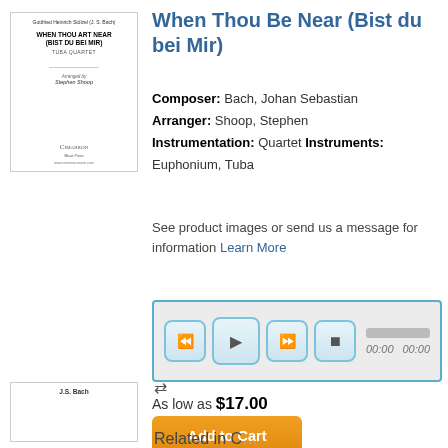[Figure (illustration): Sheet music cover thumbnail: When Thou Art Near (Bist Du Bei Mir), Tuba Quartet, arranged by Stephen Shoop, Cimarron Music Press]
When Thou Be Near (Bist du bei Mir)
Composer: Bach, Johan Sebastian
Arranger: Shoop, Stephen
Instrumentation: Quartet Instruments: Euphonium, Tuba
See product images or send us a message for information Learn More
[Figure (screenshot): Audio player widget with rewind, play, fast-forward, and stop buttons; progress bar with timestamps 00:00 and 00:00]
As low as $17.00
Add to Cart
[Figure (illustration): Compare icon (double arrow)]
[Figure (illustration): Second sheet music cover thumbnail at bottom left, labeled J.S. Bach]
Related in C...